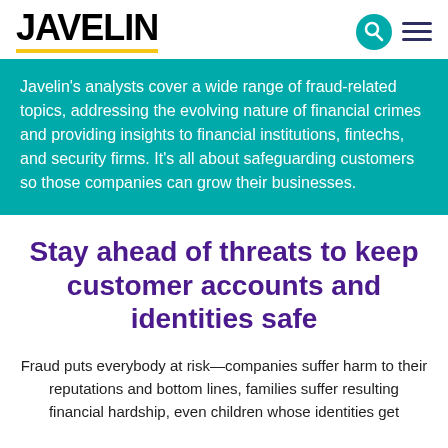JAVELIN
Javelin's analysts cover a wide range of fraud-related topics, addressing the evolving nature of financial crimes and providing insights to financial institutions, fintechs, and security firms. It's all about safeguarding customers so those companies can grow their businesses.
Stay ahead of threats to keep customer accounts and identities safe
Fraud puts everybody at risk—companies suffer harm to their reputations and bottom lines, families suffer resulting financial hardship, even children whose identities get